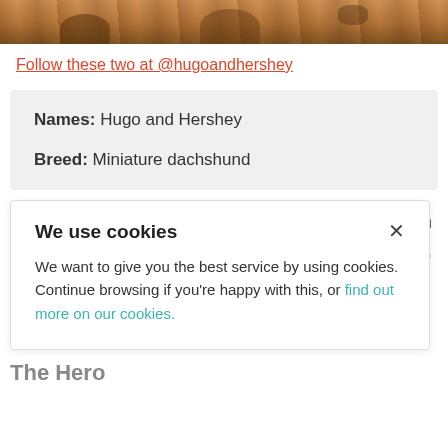[Figure (photo): Partial photo of two brown dachshund dogs on rocky/sandy ground, top portion cropped]
Follow these two at @hugoandhershey
Names: Hugo and Hershey
Breed: Miniature dachshund
We use cookies
We want to give you the best service by using cookies. Continue browsing if you're happy with this, or find out more on our cookies.
alking in views.
The Hero